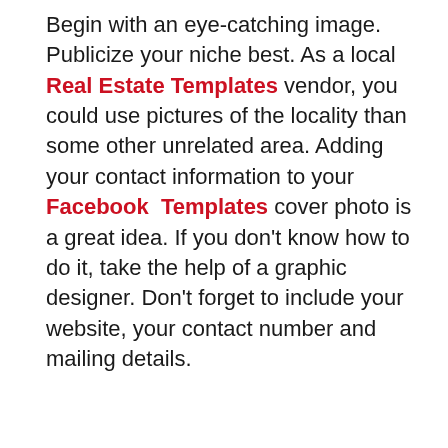Begin with an eye-catching image. Publicize your niche best. As a local Real Estate Templates vendor, you could use pictures of the locality than some other unrelated area. Adding your contact information to your Facebook Templates cover photo is a great idea. If you don't know how to do it, take the help of a graphic designer. Don't forget to include your website, your contact number and mailing details.